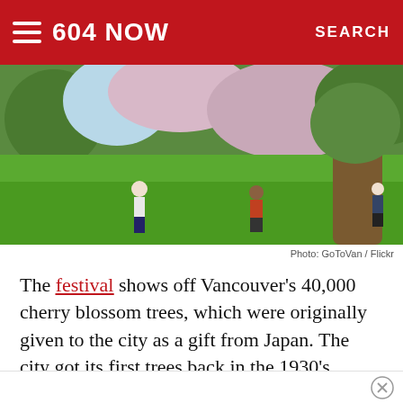604 NOW   SEARCH
[Figure (photo): People standing on a green lawn with a large tree and cherry blossoms in the background, park scene.]
Photo: GoToVan / Flickr
The festival shows off Vancouver's 40,000 cherry blossom trees, which were originally given to the city as a gift from Japan. The city got its first trees back in the 1930's.
The Cherry Blossom Festival is all happening between April 2-26th in locations throughout Vancouver.